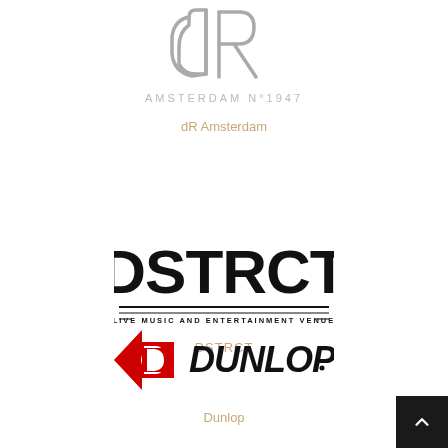[Figure (logo): dR Amsterdam logo: stylized 'dR' letters above text 'AMSTERDAM N°1947' in grey/beige tones]
dR Amsterdam
[Figure (logo): DSTRCT logo: bold distressed black block letters 'DSTRCT' with subtitle 'LIVE MUSIC AND ENTERTAINMENT VENUE' with decorative lines]
DSTRCT
[Figure (logo): Dunlop logo: red arrow/D chevron mark with bold italic 'DUNLOP' text in black]
Dunlop